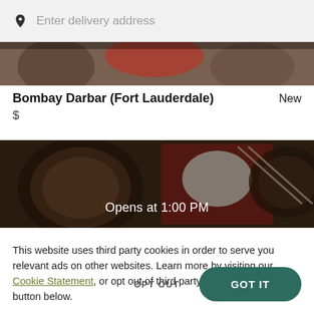Enter delivery address
[Figure (photo): Top strip showing food images - Indian/Asian dishes from above]
Bombay Darbar (Fort Lauderdale)  New
$
[Figure (photo): Food image strip showing Indian dishes from above with text 'Opens at 1:00 PM' overlaid]
This website uses third party cookies in order to serve you relevant ads on other websites. Learn more by visiting our Cookie Statement, or opt out of third party ad cookies using the button below.
OPT OUT
GOT IT